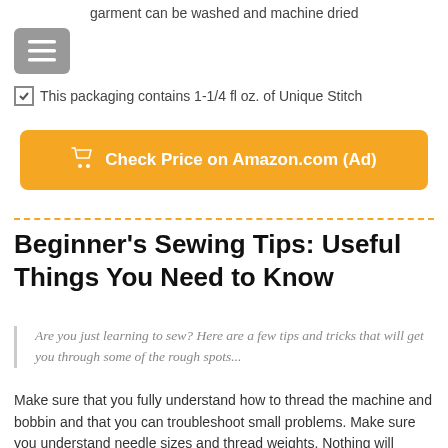garment can be washed and machine dried
This packaging contains 1-1/4 fl oz. of Unique Stitch
[Figure (other): Orange button: Check Price on Amazon.com (Ad) with shopping cart icon]
Beginner's Sewing Tips: Useful Things You Need to Know
Are you just learning to sew? Here are a few tips and tricks that will get you through some of the rough spots...
Make sure that you fully understand how to thread the machine and bobbin and that you can troubleshoot small problems. Make sure you understand needle sizes and thread weights. Nothing will cause you more trouble while sewing than if you are using the wrong needle or thread